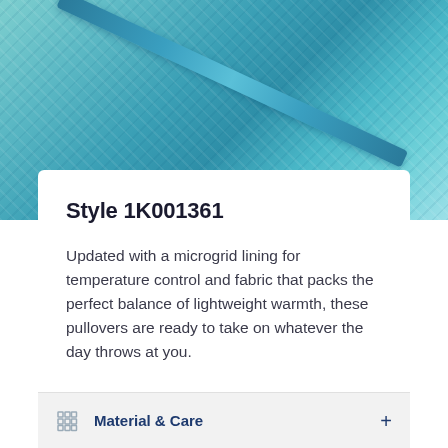[Figure (photo): Close-up photo of teal/aqua colored fabric with a textured knit pattern and a teal zipper running diagonally across the upper portion.]
Style 1K001361
Updated with a microgrid lining for temperature control and fabric that packs the perfect balance of lightweight warmth, these pullovers are ready to take on whatever the day throws at you.
Material & Care